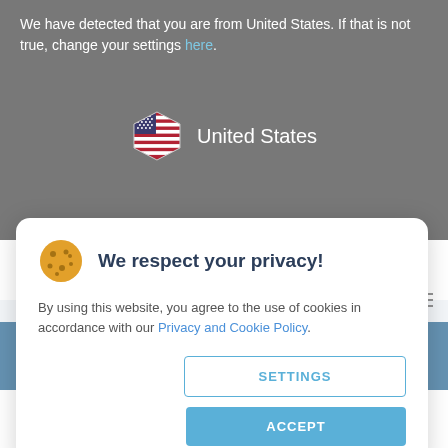We have detected that you are from United States. If that is not true, change your settings here.
[Figure (illustration): US flag hexagon icon with 'United States' label]
CONFIRM
We respect your privacy!
By using this website, you agree to the use of cookies in accordance with our Privacy and Cookie Policy.
SETTINGS
ACCEPT
Home > Helpful Information > Orders and Payments
Orders and Payments
Registration Process
If you're interested in attending one of our offerings,